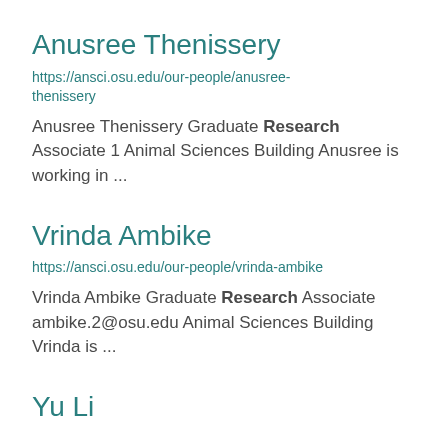Anusree Thenissery
https://ansci.osu.edu/our-people/anusree-thenissery
Anusree Thenissery Graduate Research Associate 1 Animal Sciences Building Anusree is working in ...
Vrinda Ambike
https://ansci.osu.edu/our-people/vrinda-ambike
Vrinda Ambike Graduate Research Associate ambike.2@osu.edu Animal Sciences Building Vrinda is ...
Yu Li